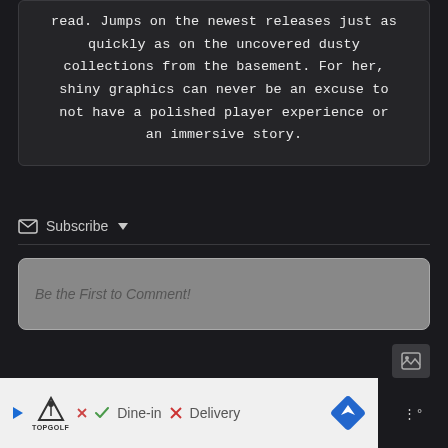read. Jumps on the newest releases just as quickly as on the uncovered dusty collections from the basement. For her, shiny graphics can never be an excuse to not have a polished player experience or an immersive story.
Subscribe
Be the First to Comment!
[Figure (screenshot): Advertisement banner for TopGolf showing logo, checkmark with Dine-in, X with Delivery, and a blue diamond navigation icon]
[Figure (other): Scroll to top button with upward chevron arrow]